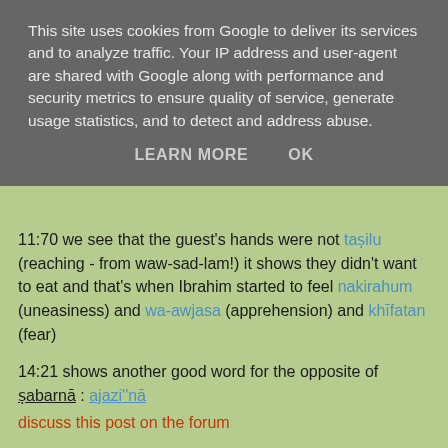This site uses cookies from Google to deliver its services and to analyze traffic. Your IP address and user-agent are shared with Google along with performance and security metrics to ensure quality of service, generate usage statistics, and to detect and address abuse.
LEARN MORE   OK
11:70 we see that the guest's hands were not taṣilu (reaching - from waw-sad-lam!) it shows they didn't want to eat and that's when Ibrahim started to feel nakirahum (uneasiness) and wa-awjasa (apprehension) and khīfatan (fear)
14:21 shows another good word for the opposite of ṣabarnā :  ajazi''nā
discuss this post on the forum